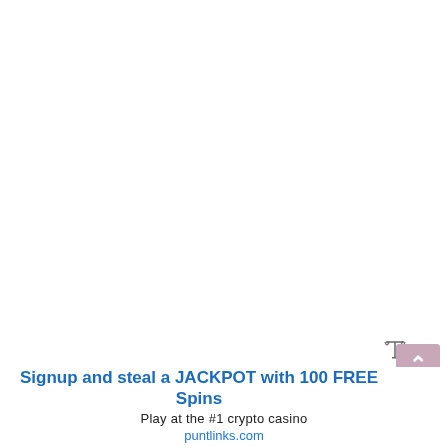[Figure (other): Large white blank content area, likely where an ad or embedded content would appear]
⚖ scale/balance icon
Signup and steal a JACKPOT with 100 FREE Spins
Play at the #1 crypto casino
puntlinks.com